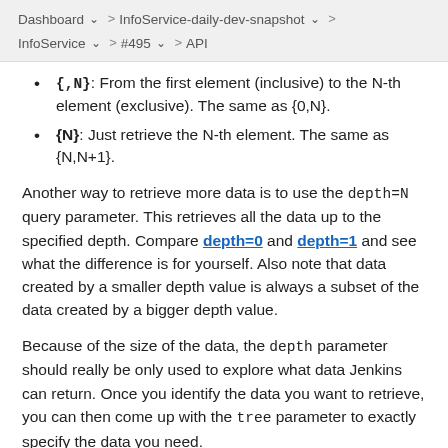Dashboard > InfoService-daily-dev-snapshot > InfoService > #495 > API
{,N}: From the first element (inclusive) to the N-th element (exclusive). The same as {0,N}.
{N}: Just retrieve the N-th element. The same as {N,N+1}.
Another way to retrieve more data is to use the depth=N query parameter. This retrieves all the data up to the specified depth. Compare depth=0 and depth=1 and see what the difference is for yourself. Also note that data created by a smaller depth value is always a subset of the data created by a bigger depth value.
Because of the size of the data, the depth parameter should really be only used to explore what data Jenkins can return. Once you identify the data you want to retrieve, you can then come up with the tree parameter to exactly specify the data you need.
Other Useful URLs